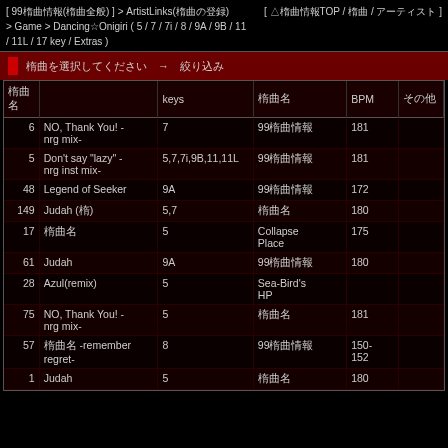[ 99楽曲情報(楽曲全般) ] > ArtistLinks(楽曲の登録) [ △楽曲情報TOP / 楽曲 / アーティスト ]
> Game > Dancing☆Onigiri ( 5 / 7 / 7i / 8 / 9A / 9B / 11 / 11L / 17 key / Extras )
楽曲を選択してください → 絞り込み
| 楽曲名 | keys | アーティスト | BPM | その他 |
| --- | --- | --- | --- | --- |
| 6 | NO, Thank You! -nrg mix- | 7 | 99楽曲情報 | 181 |  |
| 5 | Don't say "lazy" -nrg inst mix- | 5,7,7i,9B,11,11L | 99楽曲情報 | 181 |  |
| 48 | Legend of Seeker | 9A | 99楽曲情報 | 172 |  |
| 149 | Judah (楽) | 5,7 | 楽曲名 | 180 |  |
| 17 | 楽曲名 | 5 | Collapse Place | 175 |  |
| 61 | Judah | 9A | 99楽曲情報 | 180 |  |
| 28 | Azul(remix) | 5 | Sea-Bird's HP |  |  |
| 75 | NO, Thank You! -nrg mix- | 5 | 楽曲名 | 181 |  |
| 57 | 楽曲名 -remember regret- | 8 | 99楽曲情報 | 150-152 |  |
| 1 | Judah | 5 | 楽曲名 | 180 |  |